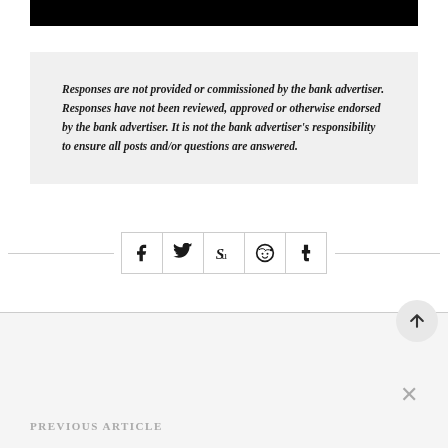[Figure (photo): Black bar at top of page, cropped image]
Responses are not provided or commissioned by the bank advertiser. Responses have not been reviewed, approved or otherwise endorsed by the bank advertiser. It is not the bank advertiser's responsibility to ensure all posts and/or questions are answered.
[Figure (infographic): Social share buttons row: Facebook, Twitter, StumbleUpon, Reddit, Tumblr icons in bordered square buttons, flanked by horizontal lines]
[Figure (other): Scroll-to-top circular button with upward arrow]
[Figure (other): Close (X) button in gray]
PREVIOUS ARTICLE